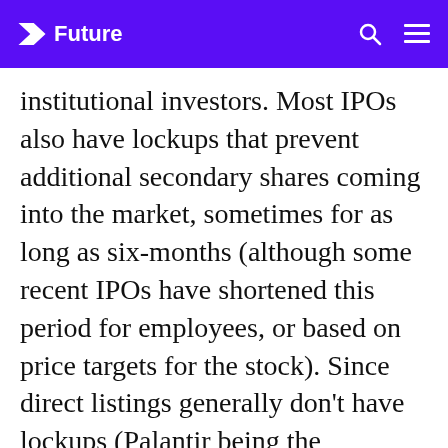Future
institutional investors. Most IPOs also have lockups that prevent additional secondary shares coming into the market, sometimes for as long as six-months (although some recent IPOs have shortened this period for employees, or based on price targets for the stock). Since direct listings generally don’t have lockups (Palantir being the exception), they enable more secondary shares to be offered in the market, thus reducing price movements caused by supply/demand imbalances in a traditional IPO. Volume is key to finding the true market price in a